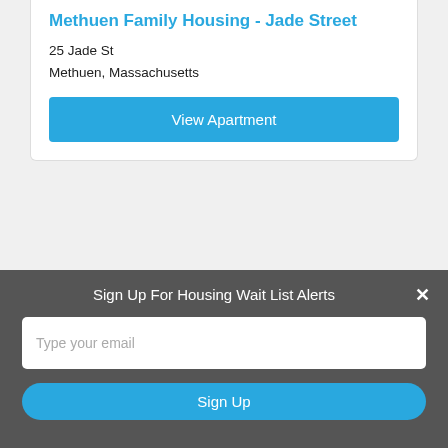Methuen Family Housing - Jade Street
25 Jade St
Methuen, Massachusetts
View Apartment
Sign Up For Housing Wait List Alerts
Type your email
Sign Up